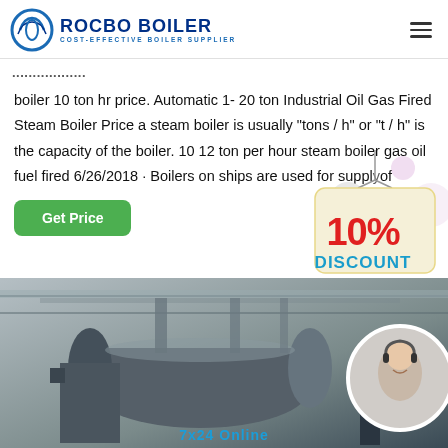ROCBO BOILER - COST-EFFECTIVE BOILER SUPPLIER
...related text...
boiler 10 ton hr price. Automatic 1- 20 ton Industrial Oil Gas Fired Steam Boiler Price a steam boiler is usually "tons / h" or "t / h" is the capacity of the boiler. 10 12 ton per hour steam boiler gas oil fuel fired 6/26/2018 · Boilers on ships are used for supply of
[Figure (infographic): Green Get Price button]
[Figure (infographic): 10% DISCOUNT hanging sign with decorative bubbles]
[Figure (photo): Industrial boiler equipment in a factory setting with a customer service agent circle photo and '7x24 Online' text at bottom right]